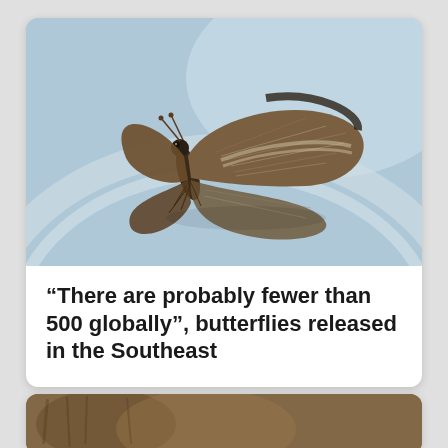[Figure (photo): Close-up photograph of a small brown and grey butterfly (skipper butterfly) resting on a glass or transparent surface, with light blue background. The butterfly has mottled brown wings with lighter streaks and thin antennae.]
“There are probably fewer than 500 globally”, butterflies released in the Southeast
[Figure (photo): Partial photograph visible at the bottom of the page, showing what appears to be an animal (possibly a horse or large mammal), only the top portion is visible.]